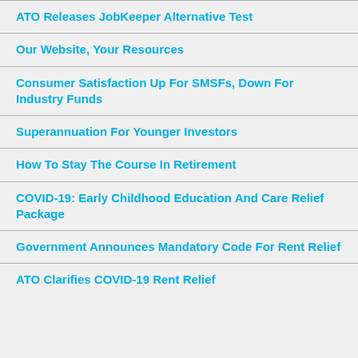ATO Releases JobKeeper Alternative Test
Our Website, Your Resources
Consumer Satisfaction Up For SMSFs, Down For Industry Funds
Superannuation For Younger Investors
How To Stay The Course In Retirement
COVID-19: Early Childhood Education And Care Relief Package
Government Announces Mandatory Code For Rent Relief
ATO Clarifies COVID-19 Rent Relief